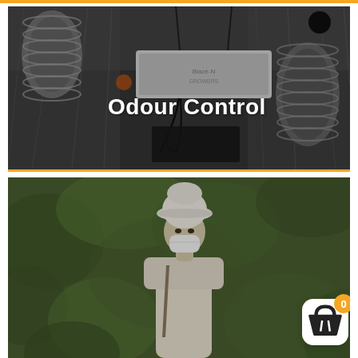[Figure (photo): Interior of a grow tent viewed from above, showing reflective mylar walls, flexible ducting, and a white light fixture. Text overlay reads 'Odour Control' in white bold font.]
[Figure (photo): A person wearing a white bucket hat and face mask standing outdoors among green foliage. A shopping cart icon with badge showing '0' is overlaid in the bottom right corner.]